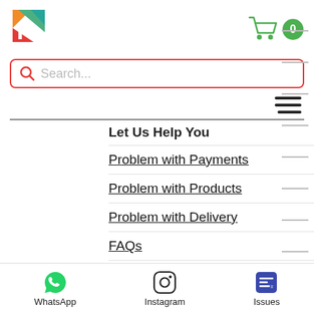[Figure (logo): Colorful K-shaped logo with orange, blue-green and red triangles]
[Figure (other): Shopping cart icon with green color and badge showing 0]
Search...
[Figure (other): Hamburger menu icon (three horizontal lines)]
Let Us Help You
Problem with Payments
Problem with Products
Problem with Delivery
FAQs
Cancellation & Returns
Policy
[Figure (other): WhatsApp icon]
WhatsApp
[Figure (other): Instagram icon]
Instagram
[Figure (other): Issues list icon]
Issues